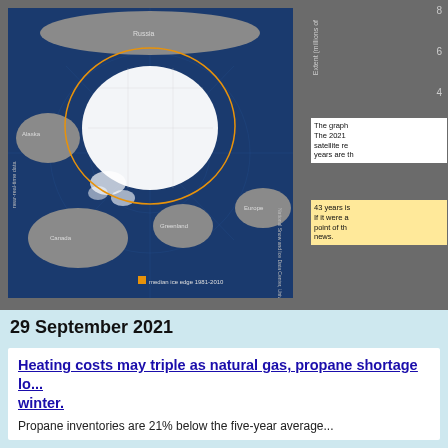[Figure (map): Arctic sea ice extent map showing polar region with white ice coverage, dark blue ocean, gray landmasses including Russia, Alaska, Canada, Greenland, Europe. Orange line shows median ice edge 1981-2010. Labeled as near-real-time data from National Snow and Ice Data Center, University of Colorado Boulder.]
The graph... The 2021 satellite re... years are th...
43 years is... If it were a... point of th... news.
29 September 2021
Heating costs may triple as natural gas, propane shortage lo... winter.
Propane inventories are 21% below the five-year average...